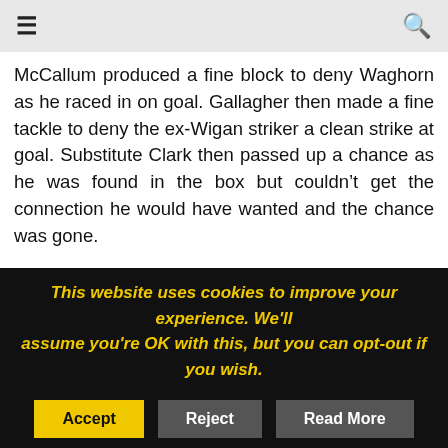≡  [search icon]
McCallum produced a fine block to deny Waghorn as he raced in on goal. Gallagher then made a fine tackle to deny the ex-Wigan striker a clean strike at goal. Substitute Clark then passed up a chance as he was found in the box but couldn't get the connection he would have wanted and the chance was gone.
Livi finally managed a foray forward just after the hour mark when Faria broke up a Rangers attack and played in White but his long range effort flew high and wide. It was only a brief respite though as McCallum had to be at his best to block an effort
This website uses cookies to improve your experience. We'll assume you're OK with this, but you can opt-out if you wish.